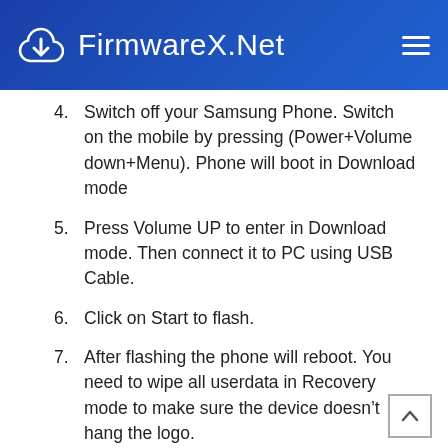FirmwareX.Net
4. Switch off your Samsung Phone. Switch on the mobile by pressing (Power+Volume down+Menu). Phone will boot in Download mode
5. Press Volume UP to enter in Download mode. Then connect it to PC using USB Cable.
6. Click on Start to flash.
7. After flashing the phone will reboot. You need to wipe all userdata in Recovery mode to make sure the device doesn’t hang the logo.
The following database gathers the Samsung firmware for all models form every carrier all over the world. By using our download feature you can get access to Samsung firmware flash files for free. Find the